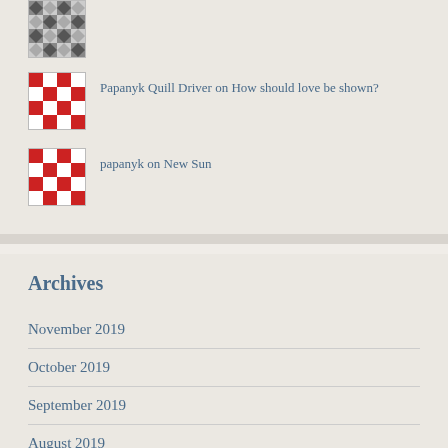[Figure (illustration): Gray geometric quilt pattern avatar (partially visible at top)]
Papanyk Quill Driver on How should love be shown?
[Figure (illustration): Red and white geometric quilt pattern avatar for Papanyk Quill Driver]
papanyk on New Sun
[Figure (illustration): Red and white geometric quilt pattern avatar for papanyk]
Archives
November 2019
October 2019
September 2019
August 2019
July 2019